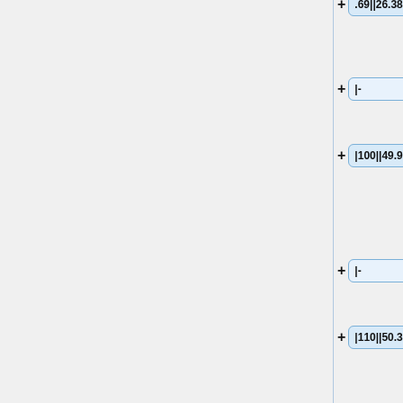.69||26.38
|-
|100||49.93||24.8||0.43||26.81
|-
|110||50.37||25.1||0.44||27.25
|-
|120||50.68||25||0.31||27.56
|-
|130||50.87||25||0.19||27.75
|-
|}